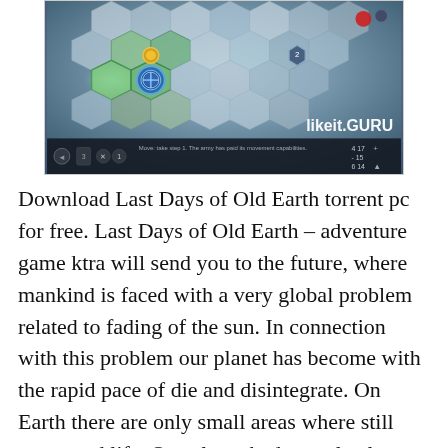[Figure (screenshot): Screenshot of the game 'Last Days of Old Earth' showing a hexagonal tile-based strategy game map with snowy/icy terrain, units, and a watermark reading 'likeit.GURU' in the bottom right corner.]
Download Last Days of Old Earth torrent pc for free. Last Days of Old Earth – adventure game ktra will send you to the future, where mankind is faced with a very global problem related to fading of the sun. In connection with this problem our planet has become with the rapid pace of die and disintegrate. On Earth there are only small areas where still supported life. Our planet had completely exhausted all its resources and almost no water left. Moreover, there is a fire on earth, torment machines, and...